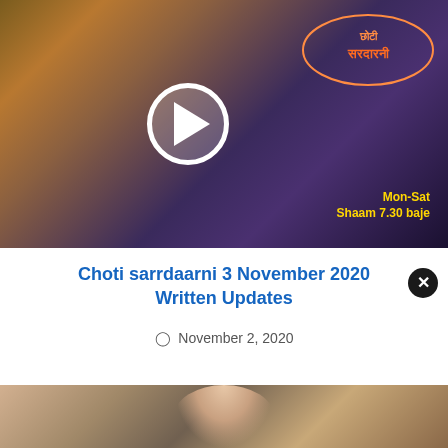[Figure (screenshot): Promotional image for Choti Sarrdaarni TV show with play button overlay. Shows two male actors and a female actress in traditional Indian attire against a dusk/sunset background, with the show logo and schedule (Mon-Sat Shaam 7.30 baje) visible.]
Choti sarrdaarni 3 November 2020 Written Updates
November 2, 2020
[Figure (photo): Photo of a woman smiling, appearing to be in a studio/indoor setting with warm lighting.]